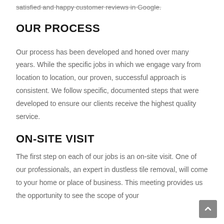satisfied and happy customer reviews in Google.
OUR PROCESS
Our process has been developed and honed over many years. While the specific jobs in which we engage vary from location to location, our proven, successful approach is consistent.  We follow specific, documented steps that were developed to ensure our clients receive the highest quality service.
ON-SITE VISIT
The first step on each of our jobs is an on-site visit. One of our professionals, an expert in dustless tile removal, will come to your home or place of business.  This meeting provides us the opportunity to see the scope of your